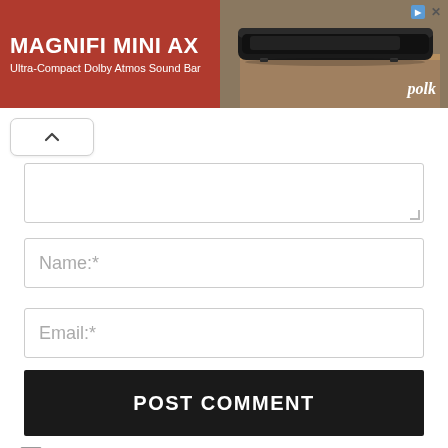[Figure (screenshot): Advertisement banner for Polk Audio MagniFi Mini AX Ultra-Compact Dolby Atmos Sound Bar with red left section showing product name and right section showing product photo on a wooden surface with polk logo]
Name:*
Email:*
Website:
Save my name, email, and website in this browser for the next time I comment.
POST COMMENT